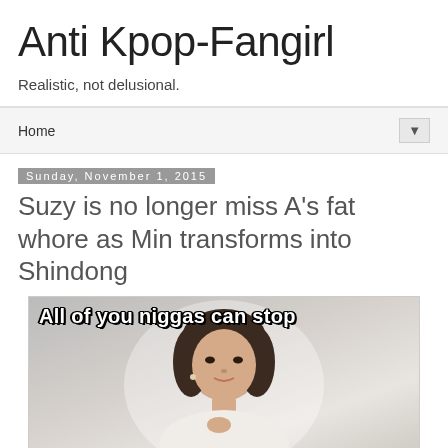Anti Kpop-Fangirl
Realistic, not delusional.
Home ▼
Sunday, November 1, 2015
Suzy is no longer miss A's fat whore as Min transforms into Shindong
[Figure (photo): Meme image of a young Asian woman with dark hair and bangs, posed with hands clasped, with white background. Overlaid text reads: All of you niggas can stop]